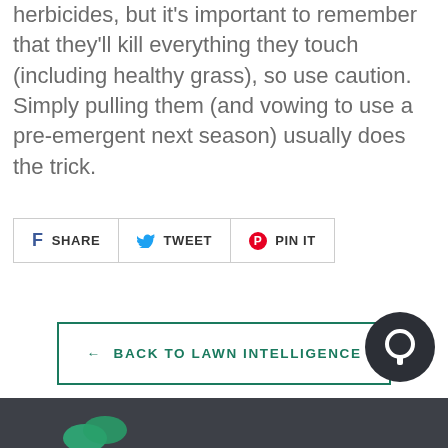herbicides, but it's important to remember that they'll kill everything they touch (including healthy grass), so use caution. Simply pulling them (and vowing to use a pre-emergent next season) usually does the trick.
[Figure (other): Social sharing buttons: Facebook SHARE, Twitter TWEET, Pinterest PIN IT]
[Figure (other): Back to Lawn Intelligence button with left arrow]
[Figure (other): Chat bubble icon in dark circle, bottom right]
[Figure (other): Dark footer bar with partial green logo visible]